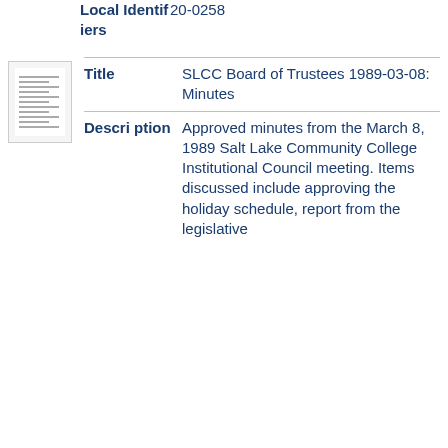Local Identifiers
20-0258
[Figure (other): Thumbnail image of a document page showing lines of text]
| Field | Value |
| --- | --- |
| Title | SLCC Board of Trustees 1989-03-08: Minutes |
| Description | Approved minutes from the March 8, 1989 Salt Lake Community College Institutional Council meeting. Items discussed include approving the holiday schedule, report from the legislative |